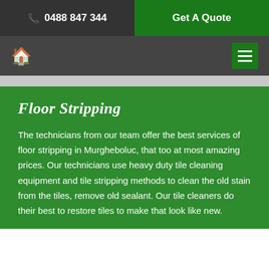📞 0488 847 344   |   Get A Quote
🏠  ☰
Floor Stripping
The technicians from our team offer the best services of floor stripping in Murgheboluc, that too at most amazing prices. Our technicians use heavy duty tile cleaning equipment and tile stripping methods to clean the old stain from the tiles, remove old sealant. Our tile cleaners do their best to restore tiles to make that look like new.